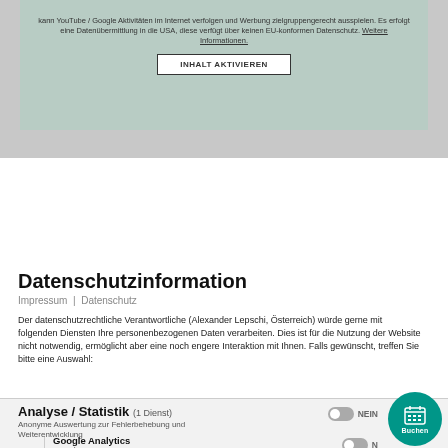[Figure (screenshot): Cookie consent banner with text about YouTube/Google tracking and a button labeled 'INHALT AKTIVIEREN']
Datenschutzinformation
Impressum  |  Datenschutz
Der datenschutzrechtliche Verantwortliche (Alexander Lepschi, Österreich) würde gerne mit folgenden Diensten Ihre personenbezogenen Daten verarbeiten. Dies ist für die Nutzung der Website nicht notwendig, ermöglicht aber eine noch engere Interaktion mit Ihnen. Falls gewünscht, treffen Sie bitte eine Auswahl:
Analyse / Statistik (1 Dienst)
Anonyme Auswertung zur Fehlerbehebung und Weiterentwicklung
Google Analytics
Google LLC, USA
Alle Details